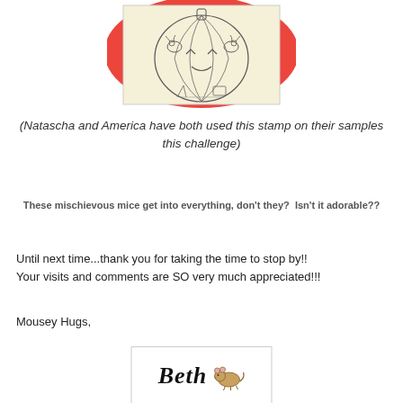[Figure (illustration): A rubber stamp image showing two mice working on a carved pumpkin/jack-o-lantern with tools, on a beige/cream stamp pad background with red oval border behind it]
(Natascha and America have both used this stamp on their samples this challenge)
These mischievous mice get into everything, don't they?  Isn't it adorable??
Until next time...thank you for taking the time to stop by!! Your visits and comments are SO very much appreciated!!!
Mousey Hugs,
[Figure (illustration): Signature block showing 'Beth' in italic bold script font with a small mouse illustration to the right, inside a rectangular border]